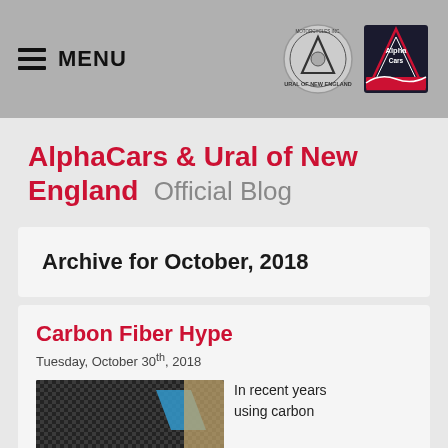MENU | AlphaCars & Ural of New England logos
AlphaCars & Ural of New England Official Blog
Archive for October, 2018
Carbon Fiber Hype
Tuesday, October 30th, 2018
In recent years using carbon